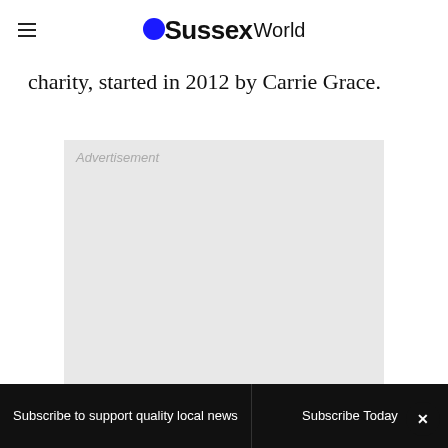OSussexWorld
charity, started in 2012 by Carrie Grace.
[Figure (other): Advertisement placeholder box with light grey background and 'Advertisement' label in top left corner.]
Subscribe to support quality local news | Subscribe Today